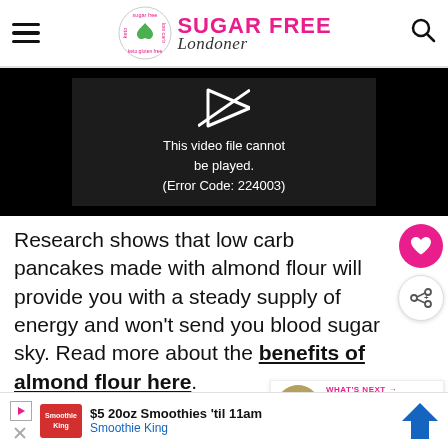Sugar Free Londoner
[Figure (screenshot): Video player showing error: This video file cannot be played. (Error Code: 224003)]
Research shows that low carb pancakes made with almond flour will provide you with a steady supply of energy and won't send you blood sugar sky. Read more about the benefits of almond flour here.
WHAT'S NEXT → Creamy Keto Cauliflower...
$5 20oz Smoothies 'til 11am Smoothie King